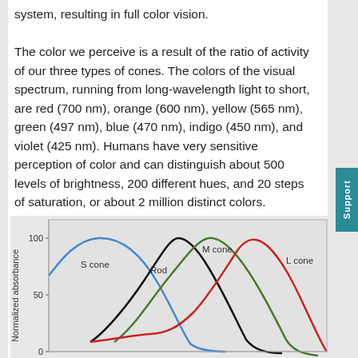system, resulting in full color vision.

The color we perceive is a result of the ratio of activity of our three types of cones. The colors of the visual spectrum, running from long-wavelength light to short, are red (700 nm), orange (600 nm), yellow (565 nm), green (497 nm), blue (470 nm), indigo (450 nm), and violet (425 nm). Humans have very sensitive perception of color and can distinguish about 500 levels of brightness, 200 different hues, and 20 steps of saturation, or about 2 million distinct colors.
[Figure (continuous-plot): Graph showing normalized absorbance curves for S cone (blue, peak ~420nm), Rod (black, peak ~500nm), M cone (green, peak ~530nm), and L cone (red, peak ~560nm). Y-axis labeled 'Normalized absorbance' with ticks at 50 and 100. X-axis shows 0 at bottom. Labels for each curve are shown on the chart.]